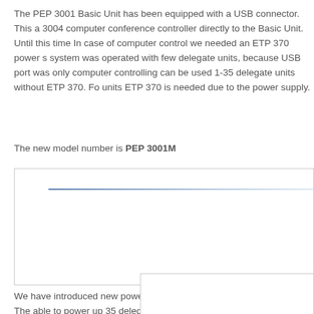The PEP 3001 Basic Unit has been equipped with a USB connector. This a 3004 computer conference controller directly to the Basic Unit. Until this time In case of computer control we needed an ETP 370 power s system was operated with few delegate units, because USB port was only computer controlling can be used 1-35 delegate units without ETP 370. Fo units ETP 370 is needed due to the power supply.
The new model number is PEP 3001M
[Figure (other): A box/frame containing a horizontal gradient line from dark blue-grey on the left to light blue-grey on the right, representing a cable or connector diagram.]
We have introduced new power supply beside the previous ETP 325 . The able to power up 35 delegate units.
[Figure (other): A partial rectangular box/frame visible at the bottom right of the page, likely showing an image of a power supply unit.]